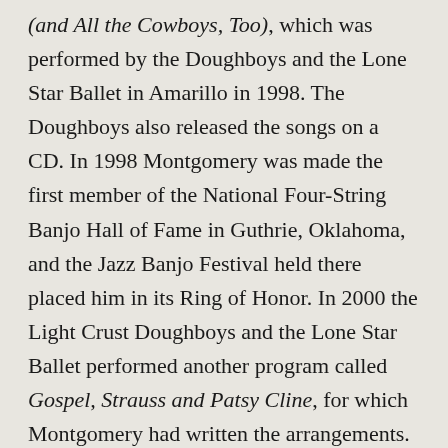(and All the Cowboys, Too), which was performed by the Doughboys and the Lone Star Ballet in Amarillo in 1998. The Doughboys also released the songs on a CD. In 1998 Montgomery was made the first member of the National Four-String Banjo Hall of Fame in Guthrie, Oklahoma, and the Jazz Banjo Festival held there placed him in its Ring of Honor. In 2000 the Light Crust Doughboys and the Lone Star Ballet performed another program called Gospel, Strauss and Patsy Cline, for which Montgomery had written the arrangements.
Though he still played every night and day, Montgomery had struggled with leukemia for some time. He died on June 6, 2001, less than a month after